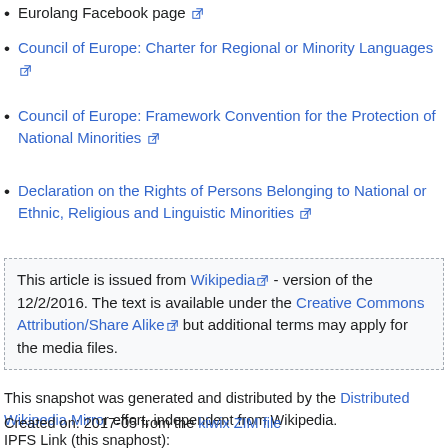Eurolang Facebook page
Council of Europe: Charter for Regional or Minority Languages
Council of Europe: Framework Convention for the Protection of National Minorities
Declaration on the Rights of Persons Belonging to National or Ethnic, Religious and Linguistic Minorities
This article is issued from Wikipedia - version of the 12/2/2016. The text is available under the Creative Commons Attribution/Share Alike but additional terms may apply for the media files.
This snapshot was generated and distributed by the Distributed Wikipedia Mirror effort, independent from Wikipedia.
Created on: 2017-05 from the kiwix ZIM file
IPFS Link (this snaphost): /ipfs/QmXoypizjW3WknFiJnKLwHCnL72vedxjQkDDP1mXWo6uco/wiki/Poorly_Used_Languages.html